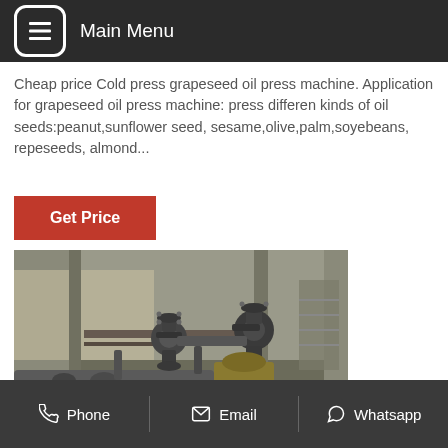Main Menu
Cheap price Cold press grapeseed oil press machine. Application for grapeseed oil press machine: press differen kinds of oil seeds:peanut,sunflower seed, sesame,olive,palm,soyebeans, repeseeds, almond...
Get Price
[Figure (photo): Industrial oil press machine showing pipes, valves, and mechanical components in a factory setting]
Phone  Email  Whatsapp